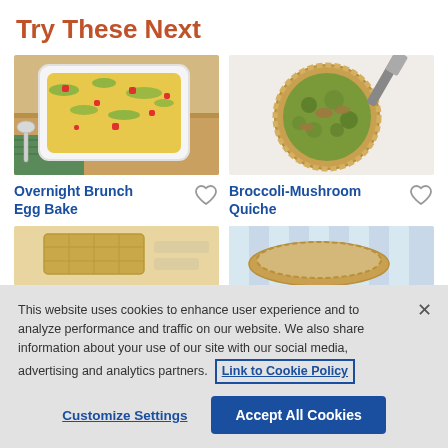Try These Next
[Figure (photo): Overhead photo of a white baking dish with egg bake casserole topped with red peppers and herbs, with a spoon beside it on a wooden board with a green towel]
Overnight Brunch Egg Bake
[Figure (photo): Overhead photo of a broccoli-mushroom quiche in a pie crust on a white plate, with a spatula nearby on a white surface]
Broccoli-Mushroom Quiche
[Figure (photo): Partial view of a recipe image at bottom left — appears to show waffles or pastries on a plate]
[Figure (photo): Partial view of a recipe image at bottom right — appears to show a pie or pastry dish on a striped cloth]
This website uses cookies to enhance user experience and to analyze performance and traffic on our website. We also share information about your use of our site with our social media, advertising and analytics partners. Link to Cookie Policy
Customize Settings
Accept All Cookies